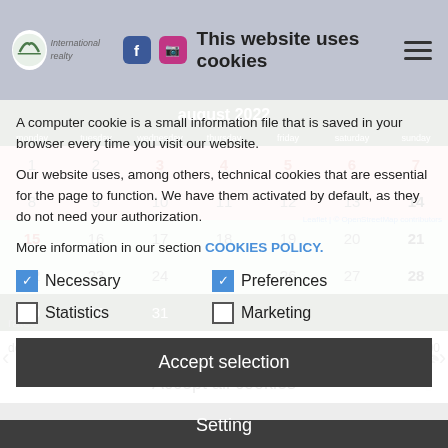This website uses cookies
A computer cookie is a small information file that is saved in your browser every time you visit our website.
Our website uses, among others, technical cookies that are essential for the page to function. We have them activated by default, as they do not need your authorization.
More information in our section COOKIES POLICY.
Necessary
Preferences
Statistics
Marketing
Accept selection
Accept all cookies
Setting
rates
desde el dia 1 hasta el 30 de Junio,2022	6.000
desde el dia 1 hasta el 31 de Julio,2022	8.000
[Figure (screenshot): Calendar showing August 2022 with highlighted date ranges in pink and green]